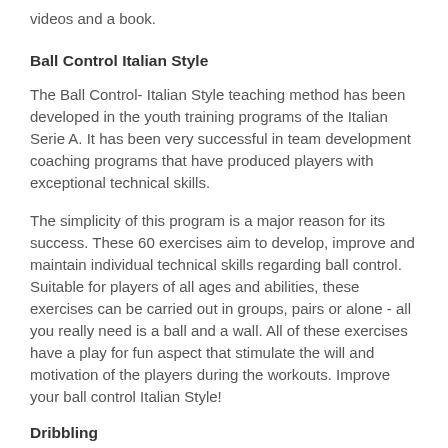videos and a book.
Ball Control Italian Style
The Ball Control- Italian Style teaching method has been developed in the youth training programs of the Italian Serie A. It has been very successful in team development coaching programs that have produced players with exceptional technical skills.
The simplicity of this program is a major reason for its success. These 60 exercises aim to develop, improve and maintain individual technical skills regarding ball control. Suitable for players of all ages and abilities, these exercises can be carried out in groups, pairs or alone - all you really need is a ball and a wall. All of these exercises have a play for fun aspect that stimulate the will and motivation of the players during the workouts. Improve your ball control Italian Style!
Dribbling
Change of Direction
Slalom